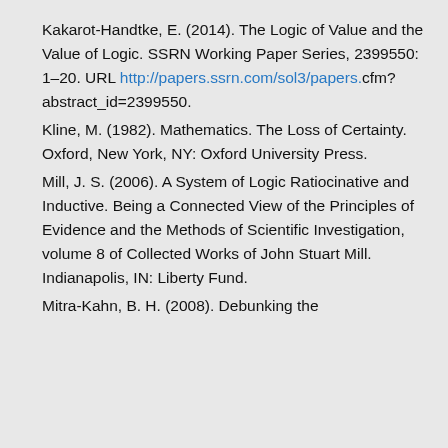Kakarot-Handtke, E. (2014). The Logic of Value and the Value of Logic. SSRN Working Paper Series, 2399550: 1–20. URL http://papers.ssrn.com/sol3/papers.cfm?abstract_id=2399550.
Kline, M. (1982). Mathematics. The Loss of Certainty. Oxford, New York, NY: Oxford University Press.
Mill, J. S. (2006). A System of Logic Ratiocinative and Inductive. Being a Connected View of the Principles of Evidence and the Methods of Scientific Investigation, volume 8 of Collected Works of John Stuart Mill. Indianapolis, IN: Liberty Fund.
Mitra-Kahn, B. H. (2008). Debunking the